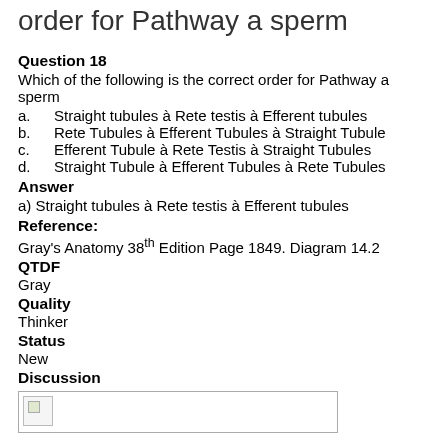order for Pathway a sperm
Question 18
Which of the following is the correct order for Pathway a sperm
a.    Straight tubules à Rete testis à Efferent tubules
b.    Rete Tubules à Efferent Tubules à Straight Tubule
c.    Efferent Tubule à Rete Testis à Straight Tubules
d.    Straight Tubule à Efferent Tubules à Rete Tubules
Answer
a) Straight tubules à Rete testis à Efferent tubules
Reference:
Gray's Anatomy 38th Edition Page 1849. Diagram 14.2
QTDF
Gray
Quality
Thinker
Status
New
Discussion
[Figure (illustration): Small image placeholder in a bordered box under Discussion section]